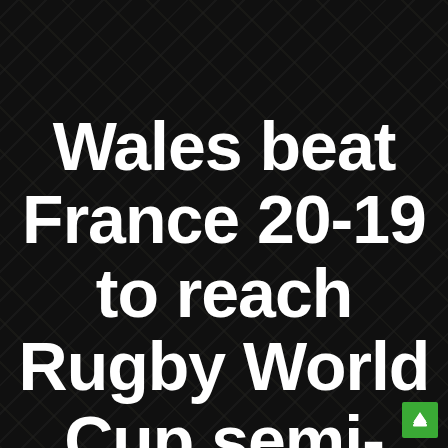[Figure (photo): Dark background image showing rugby-related items (possibly rugby balls or cards) arranged diagonally, with a dark overlay. Large bold white headline text overlaid: 'Wales beat France 20-19 to reach Rugby World Cup semi-finals in']
Wales beat France 20-19 to reach Rugby World Cup semi-finals in